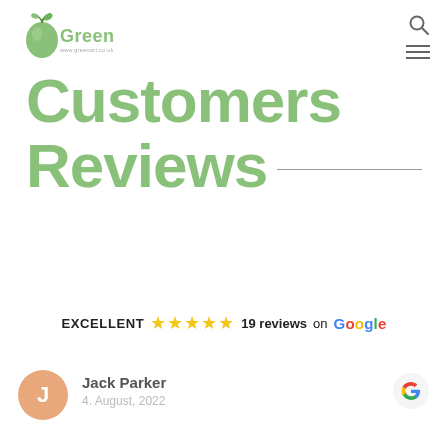Greenart logo and navigation icons
Customers Reviews
EXCELLENT ★★★★★ 19 reviews on Google
Jack Parker
4. August, 2022